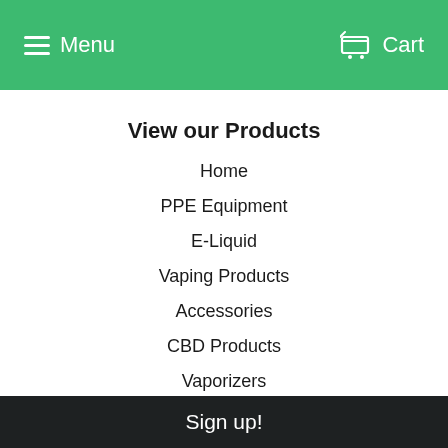Menu   Cart
View our Products
Home
PPE Equipment
E-Liquid
Vaping Products
Accessories
CBD Products
Vaporizers
Dry Herb Grinders
Bong
Confectionery
Shisha & Hookah Pipes
Smoking Products
Sign up!